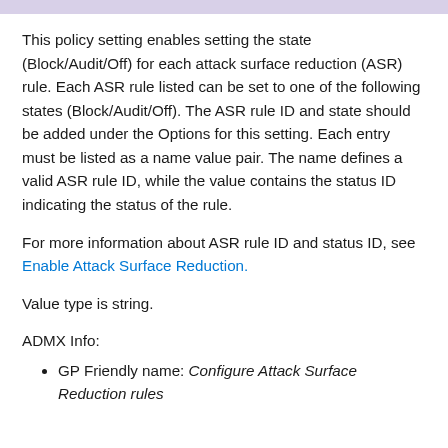This policy setting enables setting the state (Block/Audit/Off) for each attack surface reduction (ASR) rule. Each ASR rule listed can be set to one of the following states (Block/Audit/Off). The ASR rule ID and state should be added under the Options for this setting. Each entry must be listed as a name value pair. The name defines a valid ASR rule ID, while the value contains the status ID indicating the status of the rule.
For more information about ASR rule ID and status ID, see Enable Attack Surface Reduction.
Value type is string.
ADMX Info:
GP Friendly name: Configure Attack Surface Reduction rules